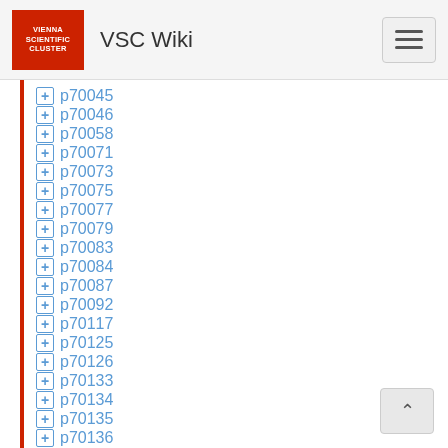VSC Wiki
p70045
p70046
p70058
p70071
p70073
p70075
p70077
p70079
p70083
p70084
p70087
p70092
p70117
p70125
p70126
p70133
p70134
p70135
p70136
p70138